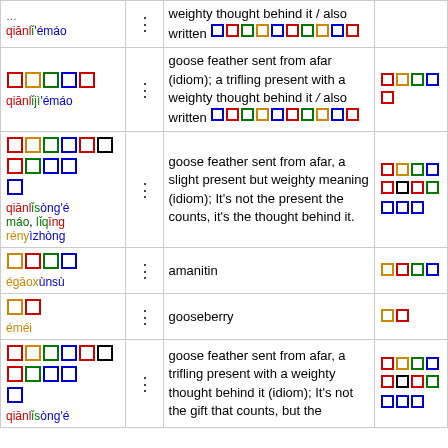| Chinese/Pinyin | • | Definition | Alt |
| --- | --- | --- | --- |
| 千里寄鹅毛 qiānlǐjì'émáo | ⋮ | goose feather sent from afar (idiom); a trifling present with a weighty thought behind it / also written 千里送鹅毛 | 千里寄 |
| 千里送鹅毛礼轻情意重 qiānlǐsòng'émáo, lǐqīng rényìzhòng | ⋮ | goose feather sent from afar, a slight present but weighty meaning (idiom); It's not the present the counts, it's the thought behind it. | 千里送鹅毛礼轻情意重 |
| 鹅膏蕈素 égāoxùnsù | ⋮ | amanitin | 鹅膏 |
| 鹅莓 éméi | ⋮ | gooseberry | 鹅莓 |
| 千里送鹅毛礼轻情义重 qiānlǐsòng'émáo | ⋮ | goose feather sent from afar, a trifling present with a weighty thought behind it (idiom); It's not the gift that counts, but the thought behind it. | 千里送鹅毛礼轻情义重 |